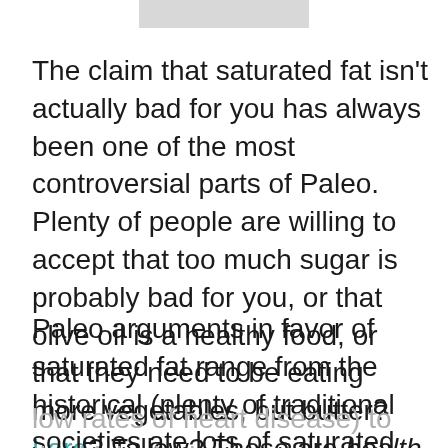[Figure (other): Gray rectangular bar at top center of page, likely a page header image placeholder]
The claim that saturated fat isn't actually bad for you has always been one of the most controversial parts of Paleo. Plenty of people are willing to accept that too much sugar is probably bad for you, or that olive oil is a healthy food, or that they need to be eating more vegetables, but butter? Lard? Tallow? Those are health foods?
Paleo arguments in favor of saturated fat range from the historical (plenty of traditional societies ate lots of saturated fat but enjoyed low rates of heart disease) to the biological